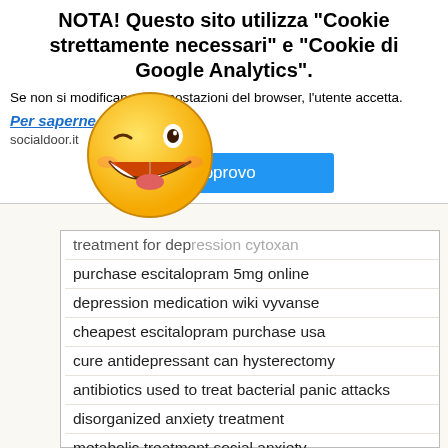NOTA! Questo sito utilizza "Cookie strettamente necessari" e "Cookie di Google Analytics".
Se non si modificano le impostazioni del browser, l'utente accetta.
Per saperne di piu'
socialdoor.it
Approvo
treatment for depression cytoxan
purchase escitalopram 5mg online
depression medication wiki vyvanse
cheapest escitalopram purchase usa
cure antidepressant can hysterectomy
antibiotics used to treat bacterial panic attacks
disorganized anxiety treatment
metabolic treatment social anxiety
social anxiety relief weather related
buy escitalopram onlinw
pectoris medication anxiety
escitalopram purchase europe
cytotron therapy panic attacks hyderabad